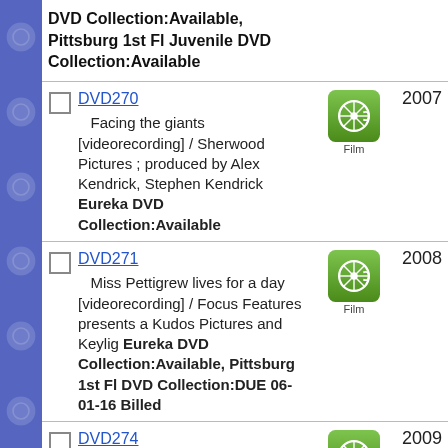DVD Collection:Available, Pittsburg 1st Fl Juvenile DVD Collection:Available
DVD270 — Facing the giants [videorecording] / Sherwood Pictures ; produced by Alex Kendrick, Stephen Kendrick. Eureka DVD Collection:Available. 2007.
DVD271 — Miss Pettigrew lives for a day [videorecording] / Focus Features presents a Kudos Pictures and Keylig. Eureka DVD Collection:Available, Pittsburg 1st Fl DVD Collection:DUE 06-01-16 Billed. 2008.
DVD274 — Appaloosa [videorecording] / New Line Cinema presents in association with Axon Films, a. 2009.